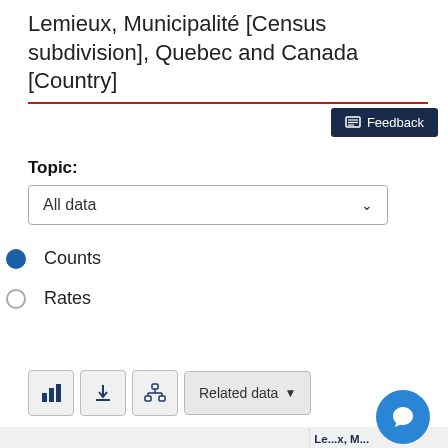Lemieux, Municipalité [Census subdivision], Quebec and Canada [Country]
[Figure (screenshot): Feedback button (dark navy background, white text with table icon)]
Topic:
[Figure (screenshot): Dropdown selector showing 'All data' with chevron arrow]
Counts (radio button selected)
Rates (radio button unselected)
[Figure (screenshot): Submit button and icon buttons: bar chart, download, network/org chart, and Related data dropdown button]
|  | Le...x, M... ec [Census subdivi... |
| --- | --- |